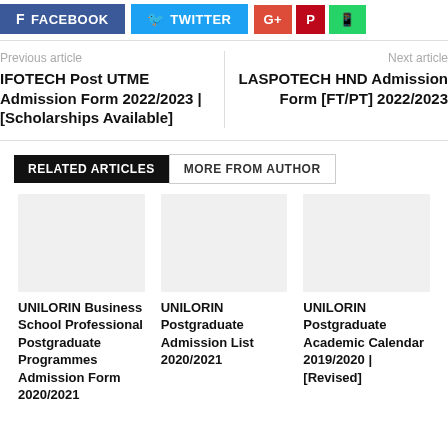[Figure (other): Social media share buttons: Facebook, Twitter, Google+, Pinterest, WhatsApp]
Previous article
IFOTECH Post UTME Admission Form 2022/2023 | [Scholarships Available]
Next article
LASPOTECH HND Admission Form [FT/PT] 2022/2023
RELATED ARTICLES    MORE FROM AUTHOR
UNILORIN Business School Professional Postgraduate Programmes Admission Form 2020/2021
UNILORIN Postgraduate Admission List 2020/2021
UNILORIN Postgraduate Academic Calendar 2019/2020 | [Revised]